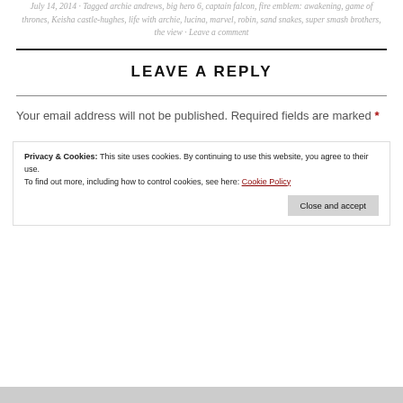July 14, 2014 · Tagged archie andrews, big hero 6, captain falcon, fire emblem: awakening, game of thrones, Keisha castle-hughes, life with archie, lucina, marvel, robin, sand snakes, super smash brothers, the view · Leave a comment
LEAVE A REPLY
Your email address will not be published. Required fields are marked *
Privacy & Cookies: This site uses cookies. By continuing to use this website, you agree to their use. To find out more, including how to control cookies, see here: Cookie Policy